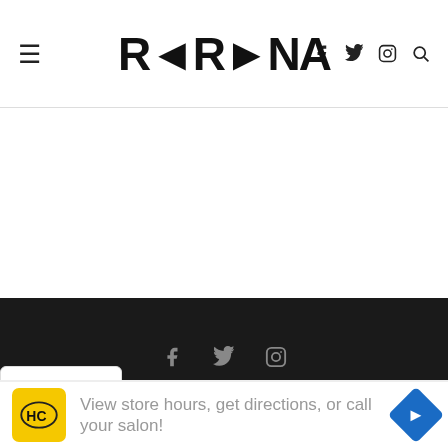≡  RPRNA  f 𝕏 ⊙ 🔍
[Figure (screenshot): White empty content area below header]
f 𝕏 ⊙  @2022 - All Right Reserved. RPRNA
[Figure (screenshot): Dropdown chevron tab and advertisement banner: HC logo, 'View store hours, get directions, or call your salon!', blue diamond arrow icon]